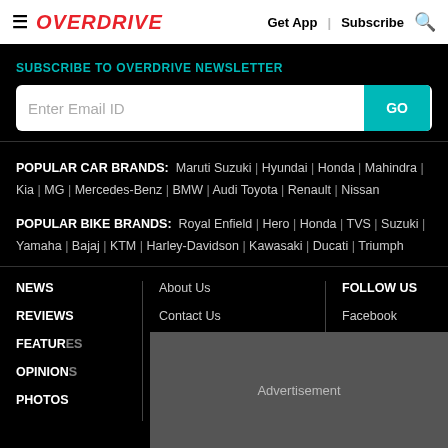≡ OVERDRIVE   Get App | Subscribe 🔍
SUBSCRIBE TO OVERDRIVE NEWSLETTER
Enter Email ID   GO
POPULAR CAR BRANDS: Maruti Suzuki | Hyundai | Honda | Mahindra | Kia | MG | Mercedes-Benz | BMW | Audi Toyota | Renault | Nissan
POPULAR BIKE BRANDS: Royal Enfield | Hero | Honda | TVS | Suzuki | Yamaha | Bajaj | KTM | Harley-Davidson | Kawasaki | Ducati | Triumph
NEWS
REVIEWS
FEATURES
OPINIONS
PHOTOS
About Us
Contact Us
Privacy Policy
Overdrive App
FOLLOW US
Facebook
Twitter
Advertisement